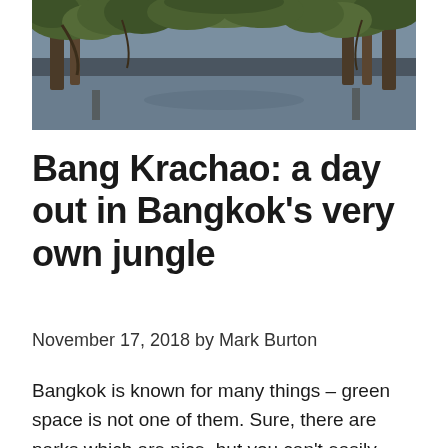[Figure (photo): Outdoor nature photo showing trees with branches and foliage over a body of water, in muted green and grey tones.]
Bang Krachao: a day out in Bangkok's very own jungle
November 17, 2018 by Mark Burton
Bangkok is known for many things – green space is not one of them. Sure, there are parks which are nice, but you can't easily escape the skyscrapers, smog and general bustle of the city. Bang Krachao is the answer to the urban chaos.